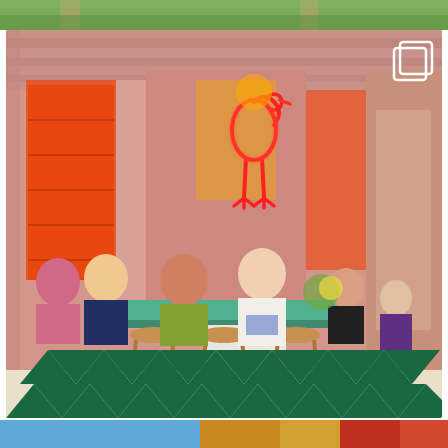[Figure (photo): Partial top strip of an outdoor scene with green grass and wooden structures visible.]
[Figure (photo): Interior of a pink-themed restaurant or cafe. The room features a neon flamingo sign in red/orange on the back wall above a mint-green counter. Customers sit on rattan bar stools at the counter. The floor has a green and white diamond/checkerboard pattern. A multi-story pink interior with orange-lit shelving on the left side. A copy/stack icon is visible in the top-right corner of the image, suggesting this is a social media post with multiple images.]
[Figure (photo): Partial bottom strip of a street or storefront scene with blue sky and colorful building facades visible.]